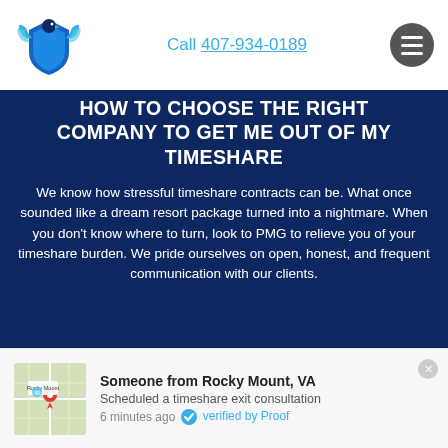[Figure (logo): PMG company logo with eagle/bird and shield in blue tones]
Call 407-934-0189
HOW TO CHOOSE THE RIGHT COMPANY TO GET ME OUT OF MY TIMESHARE
We know how stressful timeshare contracts can be. What once sounded like a dream resort package turned into a nightmare. When you don't know where to turn, look to PMG to relieve you of your timeshare burden. We pride ourselves on open, honest, and frequent communication with our clients.
Someone from Rocky Mount, VA
Scheduled a timeshare exit consultation
6 minutes ago  verified by Proof